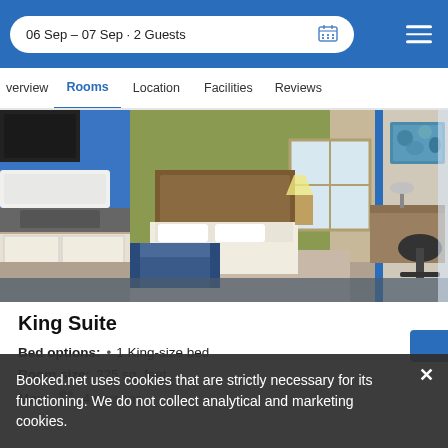06 Sep – 07 Sep: 2 Guests
Overview  Rooms  Location  Facilities  Reviews
[Figure (photo): Hotel King Suite room interior showing a king-sized bed, kitchenette, sofa, work desk with office chair, and decorative artwork on the wall]
King Suite
Bed options: • 1 King-size bed
Room size: 325 sq. feet
Max: 4 persons
Booked.net uses cookies that are strictly necessary for its functioning. We do not collect analytical and marketing cookies.